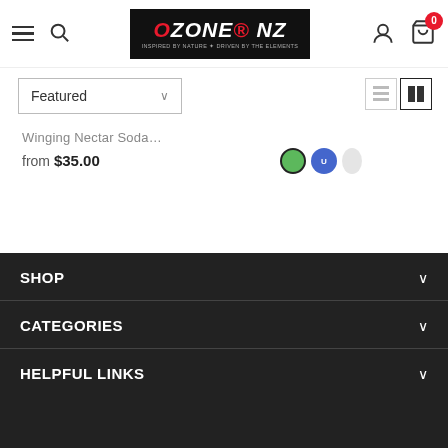Ozone NZ — navigation header with hamburger menu, search, logo, user icon, cart (0)
Featured ∨
Winging Nectar Soda…
from $35.00
[Figure (other): Color swatches: green circle (selected, with border), blue circle, and a partially visible third swatch]
[Figure (other): Back to top button — black square with white upward chevron arrow]
SHOP ∨
CATEGORIES ∨
HELPFUL LINKS ∨